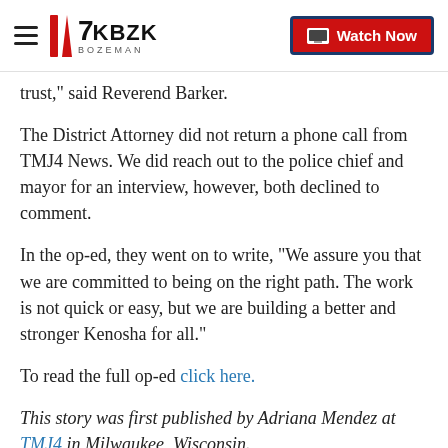7KBZK BOZEMAN | Watch Now
trust," said Reverend Barker.
The District Attorney did not return a phone call from TMJ4 News. We did reach out to the police chief and mayor for an interview, however, both declined to comment.
In the op-ed, they went on to write, “We assure you that we are committed to being on the right path. The work is not quick or easy, but we are building a better and stronger Kenosha for all.”
To read the full op-ed click here.
This story was first published by Adriana Mendez at TMJ4 in Milwaukee, Wisconsin.